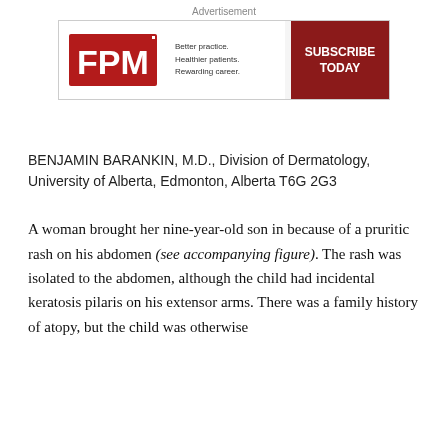[Figure (other): FPM journal advertisement banner with red FPM logo, tagline 'Better practice. Healthier patients. Rewarding career.' with device imagery and a red SUBSCRIBE TODAY button]
BENJAMIN BARANKIN, M.D., Division of Dermatology, University of Alberta, Edmonton, Alberta T6G 2G3
A woman brought her nine-year-old son in because of a pruritic rash on his abdomen (see accompanying figure). The rash was isolated to the abdomen, although the child had incidental keratosis pilaris on his extensor arms. There was a family history of atopy, but the child was otherwise